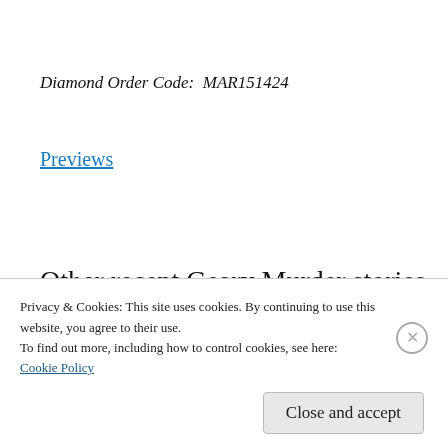Diamond Order Code:  MAR151424
Previews
Other recent Geary Murder stories include these two thrillers. You won't find them yet in
Privacy & Cookies: This site uses cookies. By continuing to use this website, you agree to their use.
To find out more, including how to control cookies, see here:
Cookie Policy
Close and accept